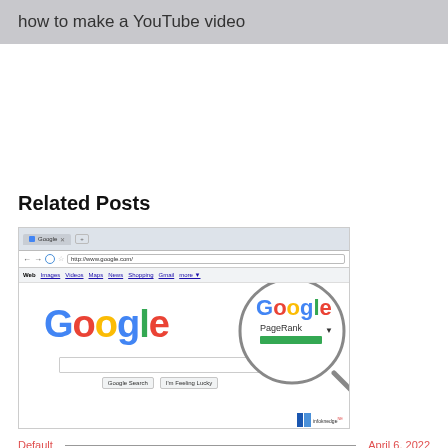how to make a YouTube video
Related Posts
[Figure (screenshot): Screenshot of Google homepage in a browser window, with a magnifying glass overlay showing Google PageRank with a green bar indicator]
Default — April 6, 2022